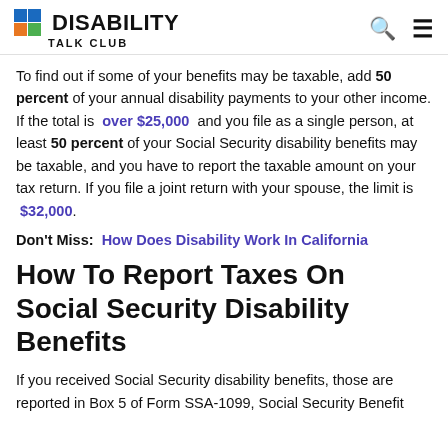DISABILITY TALK CLUB
To find out if some of your benefits may be taxable, add 50 percent of your annual disability payments to your other income. If the total is over $25,000 and you file as a single person, at least 50 percent of your Social Security disability benefits may be taxable, and you have to report the taxable amount on your tax return. If you file a joint return with your spouse, the limit is $32,000.
Don't Miss: How Does Disability Work In California
How To Report Taxes On Social Security Disability Benefits
If you received Social Security disability benefits, those are reported in Box 5 of Form SSA-1099, Social Security Benefit